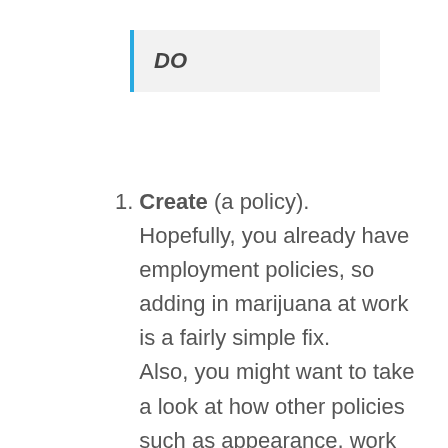DO
Create (a policy). Hopefully, you already have employment policies, so adding in marijuana at work is a fairly simple fix. Also, you might want to take a look at how other policies such as appearance, work